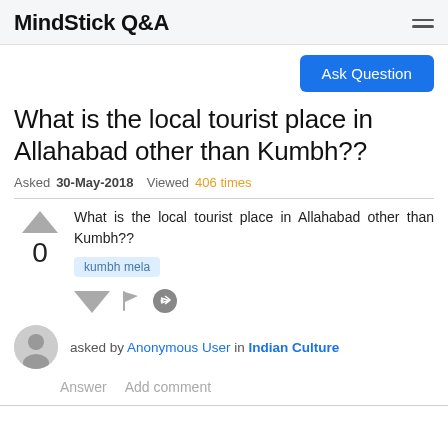MindStick Q&A
What is the local tourist place in Allahabad other than Kumbh??
Asked 30-May-2018  Viewed 406 times
What is the local tourist place in Allahabad other than Kumbh??
kumbh mela
asked by Anonymous User in Indian Culture
Answer  Add comment